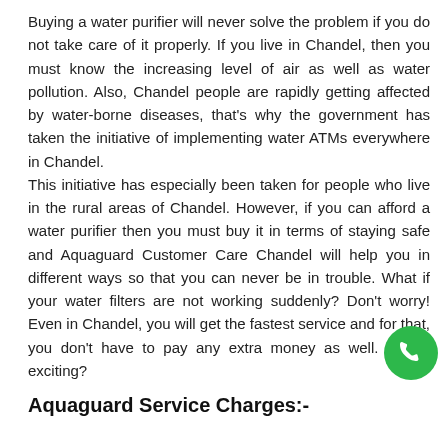Buying a water purifier will never solve the problem if you do not take care of it properly. If you live in Chandel, then you must know the increasing level of air as well as water pollution. Also, Chandel people are rapidly getting affected by water-borne diseases, that's why the government has taken the initiative of implementing water ATMs everywhere in Chandel. This initiative has especially been taken for people who live in the rural areas of Chandel. However, if you can afford a water purifier then you must buy it in terms of staying safe and Aquaguard Customer Care Chandel will help you in different ways so that you can never be in trouble. What if your water filters are not working suddenly? Don't worry! Even in Chandel, you will get the fastest service and for that, you don't have to pay any extra money as well. Isn't it exciting?
Aquaguard Service Charges:-